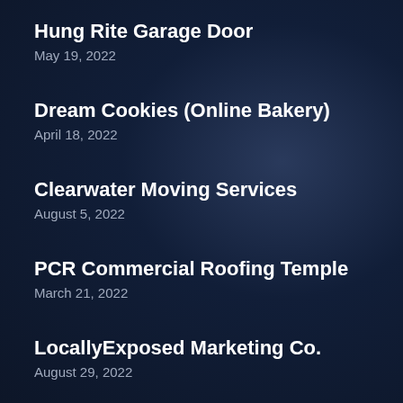Hung Rite Garage Door
May 19, 2022
Dream Cookies (Online Bakery)
April 18, 2022
Clearwater Moving Services
August 5, 2022
PCR Commercial Roofing Temple
March 21, 2022
LocallyExposed Marketing Co.
August 29, 2022
Just Bouncing Fun